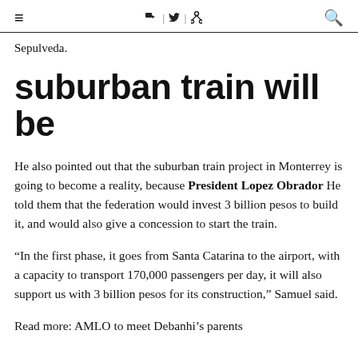≡  f | ✓ | ⊕  🔍
Sepulveda.
suburban train will be
He also pointed out that the suburban train project in Monterrey is going to become a reality, because President Lopez Obrador He told them that the federation would invest 3 billion pesos to build it, and would also give a concession to start the train.
“In the first phase, it goes from Santa Catarina to the airport, with a capacity to transport 170,000 passengers per day, it will also support us with 3 billion pesos for its construction,” Samuel said.
Read more: AMLO to meet Debanhi’s parents